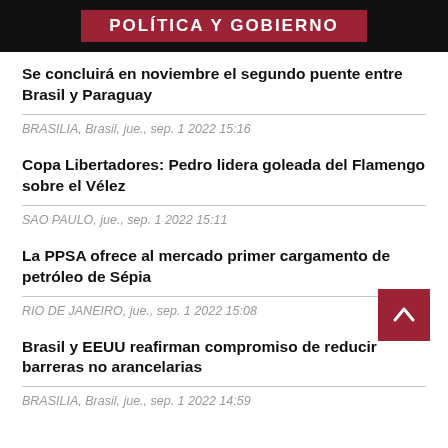POLÍTICA Y GOBIERNO
Se concluirá en noviembre el segundo puente entre Brasil y Paraguay
BRASILIA, Brasil, jue., sep. 1 2022 15:16
Copa Libertadores: Pedro lidera goleada del Flamengo sobre el Vélez
SAO PAULO, jue., sep. 1 2022 15:11
La PPSA ofrece al mercado primer cargamento de petróleo de Sépia
RIO DE JANEIRO, jue., sep. 1 2022 15:08
Brasil y EEUU reafirman compromiso de reducir barreras no arancelarias
BRASILIA, Brasil, jue., sep. 1 2022 14:59